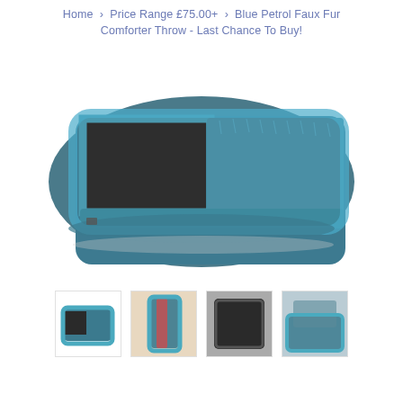Home › Price Range £75.00+ › Blue Petrol Faux Fur Comforter Throw - Last Chance To Buy!
[Figure (photo): Blue petrol faux fur comforter throw laid flat, showing the dark grey/charcoal velvet backing folded back on the top-left corner, revealing the plush teal-blue faux fur exterior. The throw is photographed from above at a slight angle on a white background.]
[Figure (photo): Small thumbnail: folded blue petrol faux fur throw showing both faux fur and dark backing.]
[Figure (photo): Small thumbnail: close-up of the throw draped over something, showing faux fur texture with warm background.]
[Figure (photo): Small thumbnail: front view of the dark grey/charcoal backing side of the comforter throw.]
[Figure (photo): Small thumbnail: blue petrol faux fur throw on a bed in a bedroom setting.]